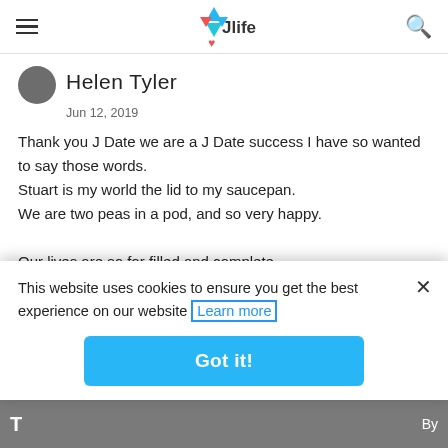Jlife
Helen Tyler
Jun 12, 2019
Thank you J Date we are a J Date success I have so wanted to say those words.
Stuart is my world the lid to my saucepan.
We are two peas in a pod, and so very happy.

Our lives are so for filled and complete.

We are complete opposites
The straight account falls in love with the nutty
This website uses cookies to ensure you get the best experience on our website Learn more
Got it!